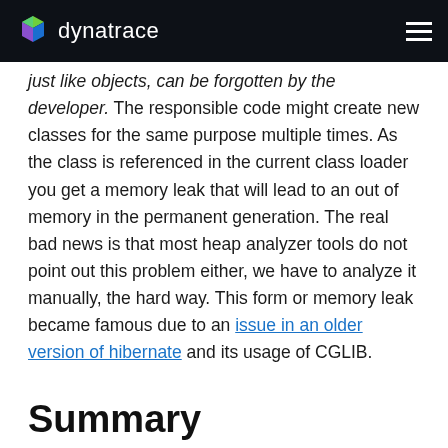dynatrace
just like objects, can be forgotten by the developer. The responsible code might create new classes for the same purpose multiple times. As the class is referenced in the current class loader you get a memory leak that will lead to an out of memory in the permanent generation. The real bad news is that most heap analyzer tools do not point out this problem either, we have to analyze it manually, the hard way. This form or memory leak became famous due to an issue in an older version of hibernate and its usage of CGLIB.
Summary
As we see there are many different causes for memory leaks and not all of them are easy to detect. In my next post I will